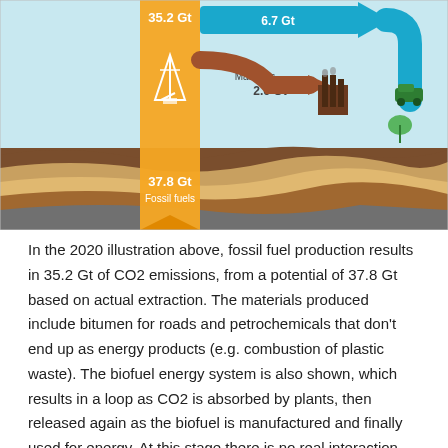[Figure (infographic): A 2020 flow diagram showing fossil fuel extraction and CO2 emissions. An orange banner shows 35.2 Gt rising from underground (labeled 37.8 Gt Fossil fuels), with a blue flow arrow labeled 6.7 Gt going to the right, and a brown flow labeled Materials 2.6 Gt going to an industrial building icon. A green biofuel loop is shown on the right side. Underground layers (brown, tan, dark gray) are depicted beneath a light-blue sky background.]
In the 2020 illustration above, fossil fuel production results in 35.2 Gt of CO2 emissions, from a potential of 37.8 Gt based on actual extraction. The materials produced include bitumen for roads and petrochemicals that don't end up as energy products (e.g. combustion of plastic waste). The biofuel energy system is also shown, which results in a loop as CO2 is absorbed by plants, then released again as the biofuel is manufactured and finally used for energy. At this stage there is no real interaction between the systems.